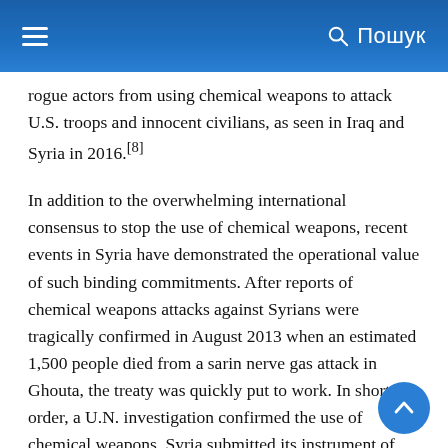Пошук
rogue actors from using chemical weapons to attack U.S. troops and innocent civilians, as seen in Iraq and Syria in 2016.[8]
In addition to the overwhelming international consensus to stop the use of chemical weapons, recent events in Syria have demonstrated the operational value of such binding commitments. After reports of chemical weapons attacks against Syrians were tragically confirmed in August 2013 when an estimated 1,500 people died from a sarin nerve gas attack in Ghouta, the treaty was quickly put to work. In short order, a U.N. investigation confirmed the use of chemical weapons, Syria submitted its instrument of accession to the CWC, and Russia and the United